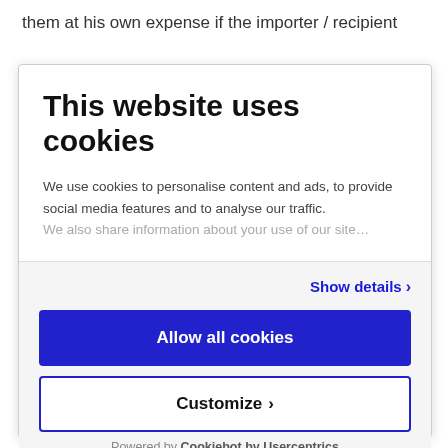them at his own expense if the importer / recipient
This website uses cookies
We use cookies to personalise content and ads, to provide social media features and to analyse our traffic. We also share information about your use of our site...
Show details ›
Allow all cookies
Customize ›
Powered by Cookiebot by Usercentrics